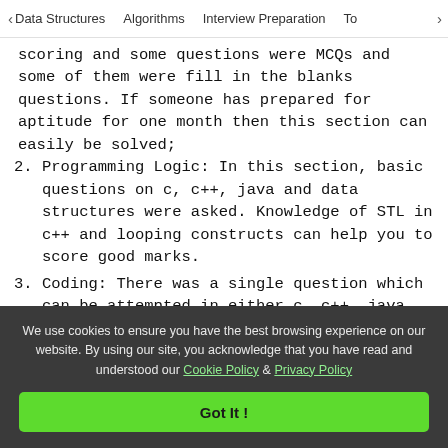< Data Structures   Algorithms   Interview Preparation   To>
scoring and some questions were MCQs and some of them were fill in the blanks questions. If someone has prepared for aptitude for one month then this section can easily be solved;
2. Programming Logic: In this section, basic questions on c, c++, java and data structures were asked. Knowledge of STL in c++ and looping constructs can help you to score good marks.
3. Coding: There was a single question which can be attempted in either c, c++, java, python. The
We use cookies to ensure you have the best browsing experience on our website. By using our site, you acknowledge that you have read and understood our Cookie Policy & Privacy Policy
Got It !